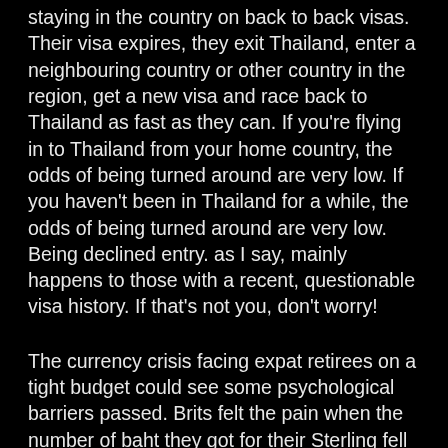staying in the country on back to back visas. Their visa expires, they exit Thailand, enter a neighbouring country or other country in the region, get a new visa and race back to Thailand as fast as they can. If you're flying in to Thailand from your home country, the odds of being turned around are very low. If you haven't been in Thailand for a while, the odds of being turned around are very low. Being declined entry. as I say, mainly happens to those with a recent, questionable visa history. If that's not you, don't worry!
The currency crisis facing expat retirees on a tight budget could see some psychological barriers passed. Brits felt the pain when the number of baht they got for their Sterling fell below 40. Will